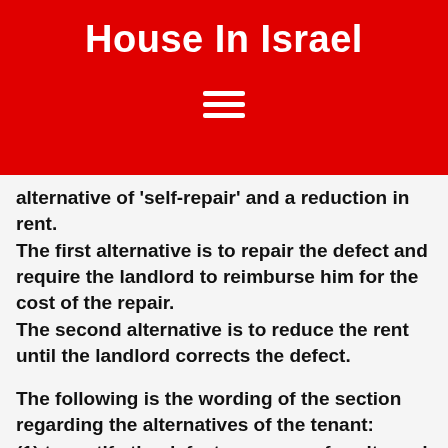House In Israel
alternative of ‘self-repair’ and a reduction in rent.
The first alternative is to repair the defect and require the landlord to reimburse him for the cost of the repair.
The second alternative is to reduce the rent until the landlord corrects the defect.
The following is the wording of the section regarding the alternatives of the tenant:
(1) to rectify the defect or non-conformity and require the landlord to reimburse his reasonable